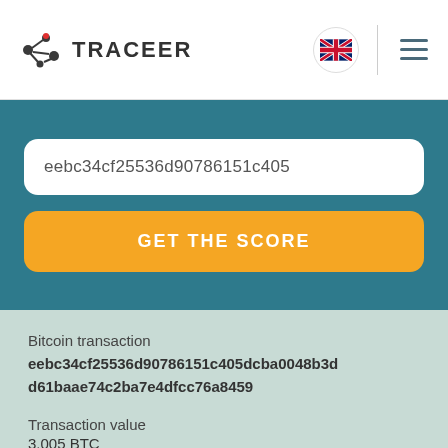[Figure (logo): Traceer logo with network node icon and bold TRACEER text]
eebc34cf25536d90786151c405
GET THE SCORE
Bitcoin transaction
eebc34cf25536d90786151c405dcba0048b3dd61baae74c2ba7e4dfcc76a8459
Transaction value
3.005 BTC